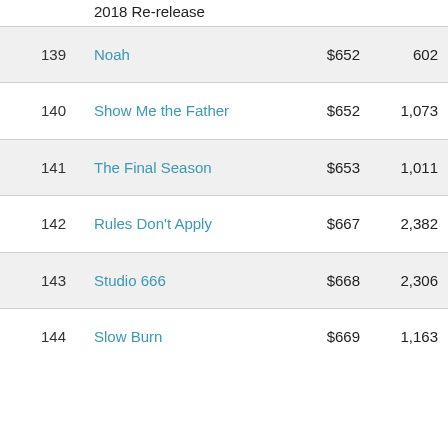| # | Title | Gross | Theaters |
| --- | --- | --- | --- |
|  | 2018 Re-release |  |  |
| 139 | Noah | $652 | 602 |
| 140 | Show Me the Father | $652 | 1,073 |
| 141 | The Final Season | $653 | 1,011 |
| 142 | Rules Don't Apply | $667 | 2,382 |
| 143 | Studio 666 | $668 | 2,306 |
| 144 | Slow Burn | $669 | 1,163 |